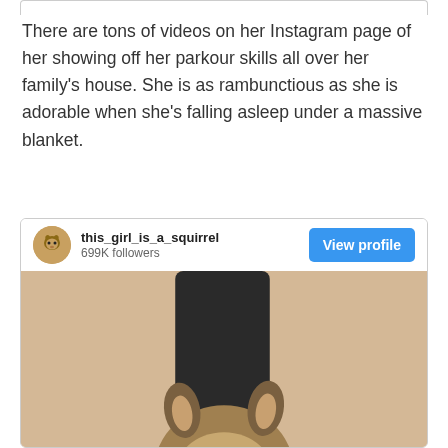There are tons of videos on her Instagram page of her showing off her parkour skills all over her family's house. She is as rambunctious as she is adorable when she's falling asleep under a massive blanket.
[Figure (screenshot): Instagram profile card for 'this_girl_is_a_squirrel' with 699K followers and a 'View profile' button, showing a photo of a squirrel looking at the camera with large eyes and whiskers against a beige background.]